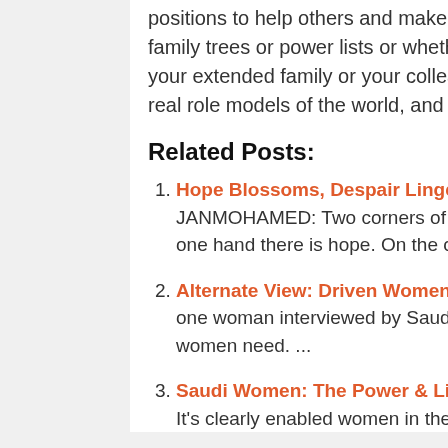positions to help others and make society better – whether they are found on royal family trees or power lists or whether you come across them in local communities, your extended family or your colleagues at work – these are the women who are the real role models of the world, and the ones we should aspire to be.
Related Posts:
Hope Blossoms, Despair Lingers for Arab Women SHELINA ZAHRA JANMOHAMED: Two corners of the Muslim world, two very different stories. On the one hand there is hope. On the other hand, despair......
Alternate View: Driven Women Privileged in Saudi AMERICAN BEDU: According to one woman interviewed by Saudi News it's 'magic carpets' rather than 'cars' that Saudi women need. ...
Saudi Women: The Power & Limitation of Social Media MAHA AKEEL, CGNEWS: It's clearly enabled women in the Middle East in